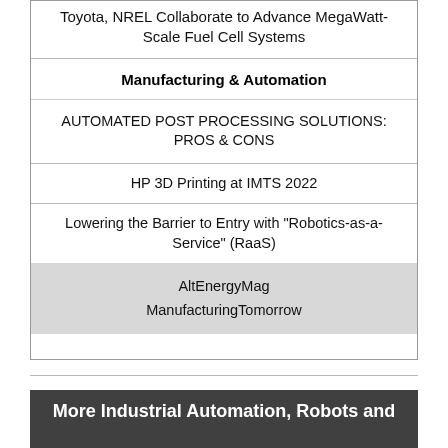Toyota, NREL Collaborate to Advance MegaWatt-Scale Fuel Cell Systems
Manufacturing & Automation
AUTOMATED POST PROCESSING SOLUTIONS: PROS & CONS
HP 3D Printing at IMTS 2022
Lowering the Barrier to Entry with "Robotics-as-a-Service" (RaaS)
AltEnergyMag
ManufacturingTomorrow
More Industrial Automation, Robots and